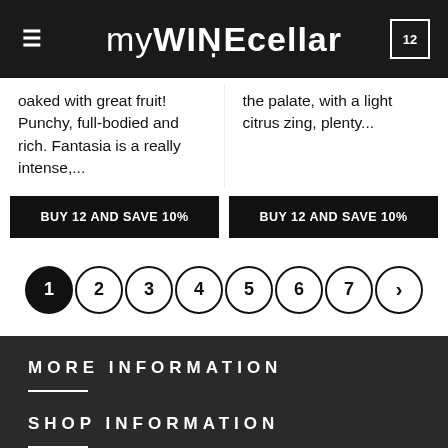myWINEcellar — cart: 12
oaked with great fruit! Punchy, full-bodied and rich. Fantasia is a really intense,...
the palate, with a light citrus zing, plenty...
BUY 12 AND SAVE 10%
BUY 12 AND SAVE 10%
1 2 3 4 5 6 7 >
MORE INFORMATION
SHOP INFORMATION